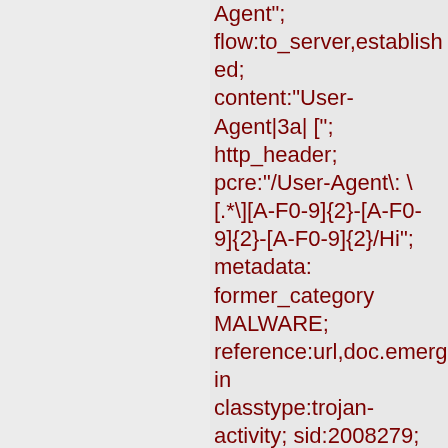Agent"; flow:to_server,established; content:"User-Agent|3a| ["; http_header; pcre:"/User-Agent\: \[.*\][A-F0-9]{2}-[A-F0-9]{2}-[A-F0-9]{2}/Hi"; metadata: former_category MALWARE; reference:url,doc.emergin classtype:trojan-activity; sid:2008279; rev:10; metadata:attack_target Client_Endpoint, deployment Perimeter, tag Spyware_User_Agent, signature_severity Minor, created_at 2010_07_30